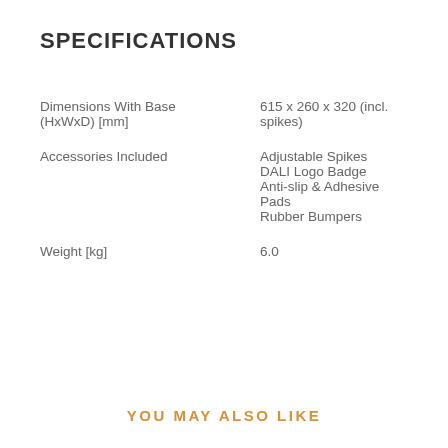SPECIFICATIONS
|  |  |
| --- | --- |
| Dimensions With Base (HxWxD) [mm] | 615 x 260 x 320 (incl. spikes) |
| Accessories Included | Adjustable Spikes
DALI Logo Badge
Anti-slip & Adhesive Pads
Rubber Bumpers |
| Weight [kg] | 6.0 |
YOU MAY ALSO LIKE